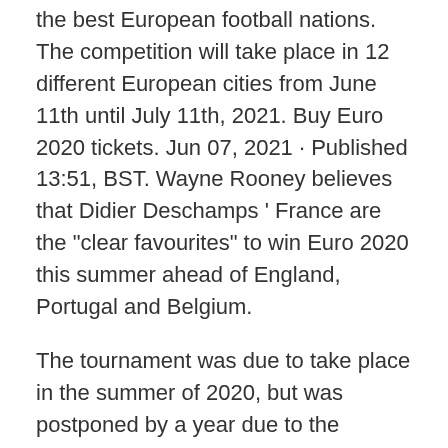the best European football nations. The competition will take place in 12 different European cities from June 11th until July 11th, 2021. Buy Euro 2020 tickets. Jun 07, 2021 · Published 13:51, BST. Wayne Rooney believes that Didier Deschamps ' France are the "clear favourites" to win Euro 2020 this summer ahead of England, Portugal and Belgium.
The tournament was due to take place in the summer of 2020, but was postponed by a year due to the outbreak of COVID-19. An updated schedule for the rearranged UEFA EURO 2020 finals has FOR REAL'. Approximately 2.5m tickets for UEFA EURO 2020 are set to be sold to fans, with applications for the first 1.5m taking place on EURO2020.com from 12 June to at 14:00CET UEFA EURO 2020. Go back; UEFA EURO 2020; A EURO for Europe; Be part of it; Ticket